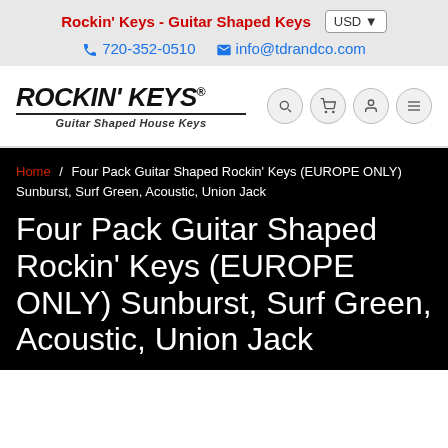Rockin' Keys - Guitar Shaped Keys | USD
720-352-0510  info@tdrandco.com
[Figure (logo): Rockin' Keys logo with 'Guitar Shaped House Keys' subtitle and navigation icons (search, cart, account, menu)]
Home / Four Pack Guitar Shaped Rockin' Keys (EUROPE ONLY) Sunburst, Surf Green, Acoustic, Union Jack
Four Pack Guitar Shaped Rockin' Keys (EUROPE ONLY) Sunburst, Surf Green, Acoustic, Union Jack